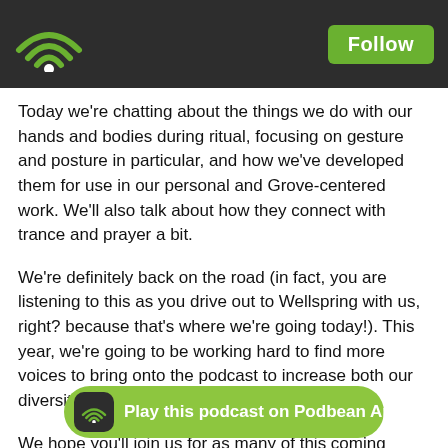Podbean podcast app header with wifi logo and Follow button
Today we're chatting about the things we do with our hands and bodies during ritual, focusing on gesture and posture in particular, and how we've developed them for use in our personal and Grove-centered work. We'll also talk about how they connect with trance and prayer a bit.
We're definitely back on the road (in fact, you are listening to this as you drive out to Wellspring with us, right? because that's where we're going today!). This year, we're going to be working hard to find more voices to bring onto the podcast to increase both our diversity, and our connections.
We hope you'll join us for as many of this coming year's festivals as possible, in person if you can. There has never been a safer, more welcome chance to connect with your fellow pagans and Druids. Just this morning, we're on our way to The Wellspring Gathering May 26-30, 2022, and The Summerland Gathering is happening August 18-21, 2022 (accepting workshop proposal and registration)! On the west coast, look out for Beyond the Gates in early Sept... ...Festival June 9-12,...
Play this podcast on Podbean App